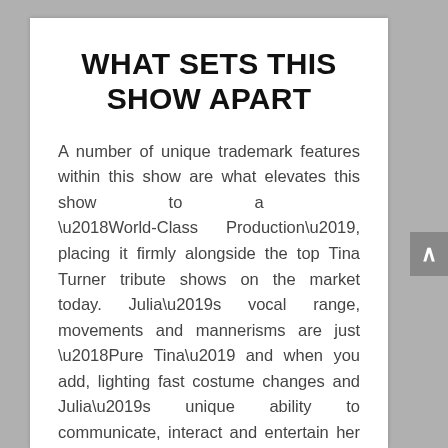WHAT SETS THIS SHOW APART
A number of unique trademark features within this show are what elevates this show to a ‘World-Class Production’, placing it firmly alongside the top Tina Turner tribute shows on the market today. Julia’s vocal range, movements and mannerisms are just ‘Pure Tina’ and when you add, lighting fast costume changes and Julia’s unique ability to communicate, interact and entertain her audience, you can understand why clients all over the world want to book Julia to perform. But